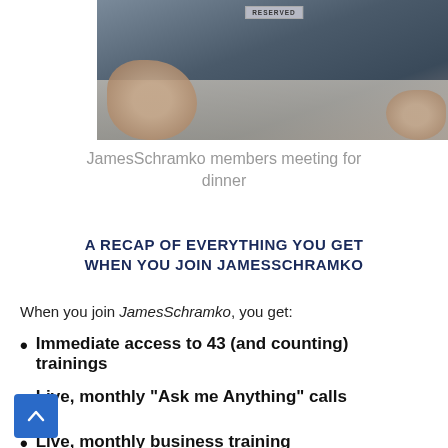[Figure (photo): Photo of people sitting at a table for a dinner meeting, with a 'RESERVED' sign on the table. Hands visible on a light-colored table surface.]
JamesSchramko members meeting for dinner
A RECAP OF EVERYTHING YOU GET WHEN YOU JOIN JAMESSCHRAMKO
When you join JamesSchramko, you get:
Immediate access to 43 (and counting) trainings
Live, monthly “Ask me Anything” calls
Live, monthly business training